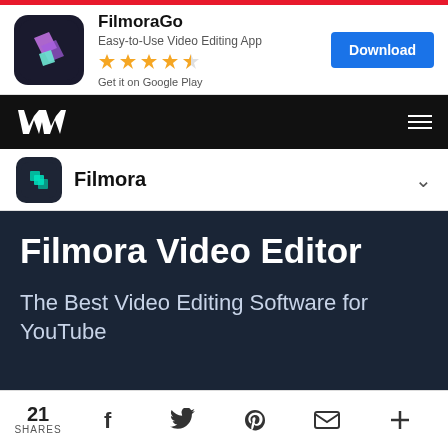[Figure (screenshot): FilmoraGo app advertisement banner with app icon, star rating, 'Get it on Google Play' text, and blue Download button]
[Figure (screenshot): Black navigation bar with white Wondershare logo on left and hamburger menu icon on right]
[Figure (screenshot): White product selector bar showing Filmora icon and name with dropdown chevron]
Filmora Video Editor
The Best Video Editing Software for YouTube
[Figure (screenshot): Social share bar showing 21 SHARES with Facebook, Twitter, Pinterest, email, and plus icons]